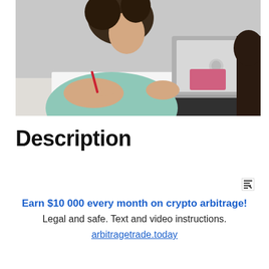[Figure (photo): Photo of a person with curly hair wearing a light blue/mint shirt, leaning over a desk writing with a red pen on paper, with an Apple MacBook laptop open in the background, and another person partially visible on the right.]
Description
[Figure (other): Small icon/symbol resembling a text cursor or typing indicator, dark on white background.]
Earn $10 000 every month on crypto arbitrage! Legal and safe. Text and video instructions. arbitragetrade.today